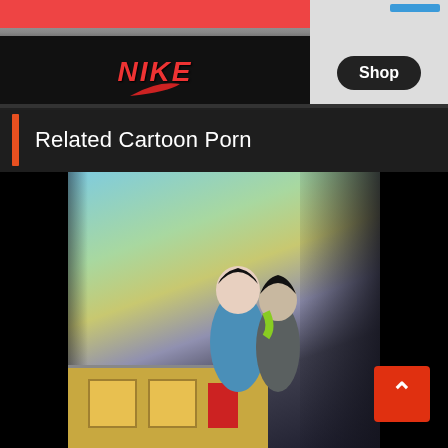[Figure (photo): Nike shoe box with red and black design and white Nike swoosh logo in red text, top portion showing red-striped sneaker]
[Figure (photo): White background with blue marker/pen visible, Shop button overlay with dark rounded rectangle]
Related Cartoon Porn
[Figure (screenshot): Video thumbnail showing animated cartoon characters in an indoor/outdoor scene, black letterbox bars on left and right sides, scroll-to-top button in lower right]